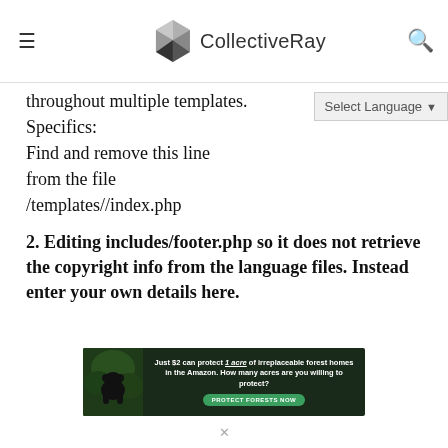CollectiveRay
throughout multiple templates. Specifics:
Find and remove this line from the file /templates//index.php
2. Editing includes/footer.php so it does not retrieve the copyright info from the language files. Instead enter your own details here.
[Figure (infographic): Advertisement banner: dark forest background with a gorilla image on the left. Text reads: Just $2 can protect 1 acre of irreplaceable forest homes in the Amazon. How many acres are you willing to protect? Button: PROTECT FORESTS NOW]